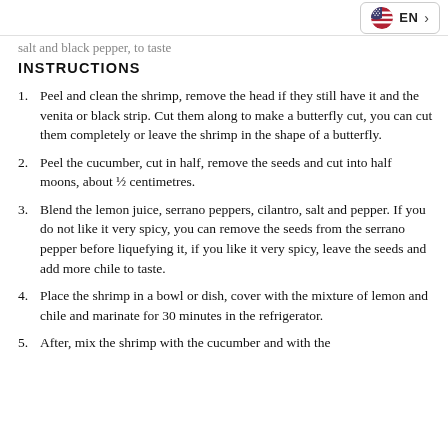EN
salt and black pepper, to taste
INSTRUCTIONS
Peel and clean the shrimp, remove the head if they still have it and the venita or black strip. Cut them along to make a butterfly cut, you can cut them completely or leave the shrimp in the shape of a butterfly.
Peel the cucumber, cut in half, remove the seeds and cut into half moons, about ½ centimetres.
Blend the lemon juice, serrano peppers, cilantro, salt and pepper. If you do not like it very spicy, you can remove the seeds from the serrano pepper before liquefying it, if you like it very spicy, leave the seeds and add more chile to taste.
Place the shrimp in a bowl or dish, cover with the mixture of lemon and chile and marinate for 30 minutes in the refrigerator.
After, mix the shrimp with the cucumber and with the